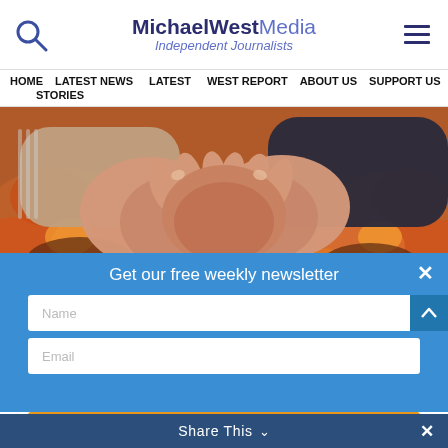MichaelWest Media — Independent Journalists
HOME  LATEST NEWS  LATEST  WEST REPORT  ABOUT US  SUPPORT US  STORIES
[Figure (photo): Close-up of two people shaking hands with a fire/explosion background effect]
Get our free weekly newsletter
Name
Email
GET NEWSLETTER
Share This  ×